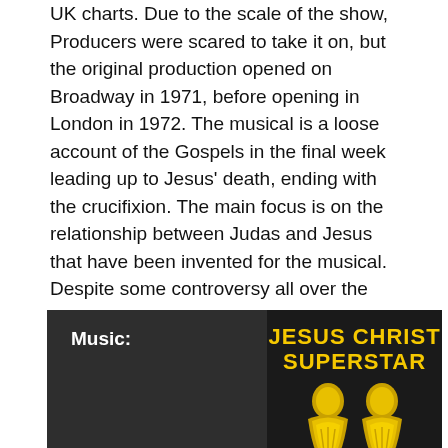UK charts. Due to the scale of the show, Producers were scared to take it on, but the original production opened on Broadway in 1971, before opening in London in 1972. The musical is a loose account of the Gospels in the final week leading up to Jesus' death, ending with the crucifixion. The main focus is on the relationship between Judas and Jesus that have been invented for the musical. Despite some controversy all over the world, the show has been successful in various countries and is a popular choice to be performed by amateur and church companies. Numerous revivals have thought of different ways to present the story and have updated the events to a modern setting.
[Figure (other): Dark box with 'Music:' label on the left and Jesus Christ Superstar album cover graphic on the right, showing title text in yellow and partial golden graphic at the bottom.]